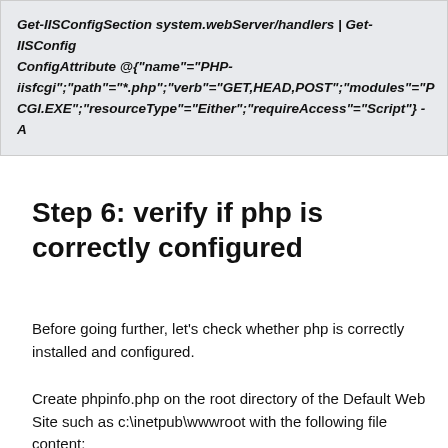Get-IISConfigSection system.webServer/handlers | Get-IISConfigAttribute @{"name"="PHP-iisfcgi";"path"="*.php";"verb"="GET,HEAD,POST";"modules"="PHP-CGI.EXE";"resourceType"="Either";"requireAccess"="Script"} -A
Step 6: verify if php is correctly configured
Before going further, let's check whether php is correctly installed and configured.
Create phpinfo.php on the root directory of the Default Web Site such as c:\inetpub\wwwroot with the following file content: